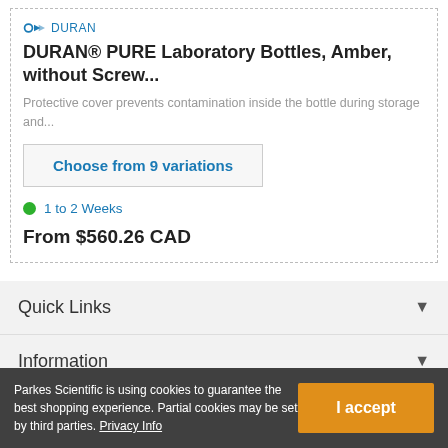[Figure (logo): DURAN brand logo icon, blue arrow/bracket symbol]
DURAN
DURAN® PURE Laboratory Bottles, Amber, without Screw...
Protective cover prevents contamination inside the bottle during storage and...
Choose from 9 variations
1 to 2 Weeks
From $560.26 CAD
Quick Links
Information
Company
Parkes Scientific is using cookies to guarantee the best shopping experience. Partial cookies may be set by third parties. Privacy Info
I accept